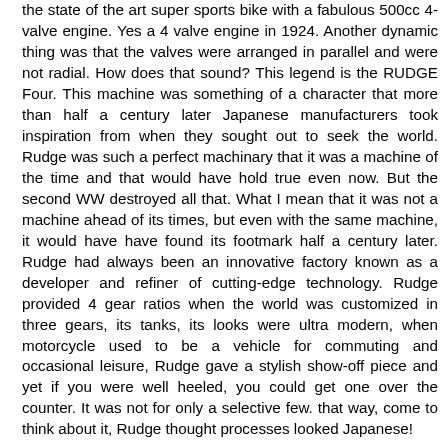the state of the art super sports bike with a fabulous 500cc 4-valve engine. Yes a 4 valve engine in 1924. Another dynamic thing was that the valves were arranged in parallel and were not radial. How does that sound? This legend is the RUDGE Four. This machine was something of a character that more than half a century later Japanese manufacturers took inspiration from when they sought out to seek the world. Rudge was such a perfect machinary that it was a machine of the time and that would have hold true even now. But the second WW destroyed all that. What I mean that it was not a machine ahead of its times, but even with the same machine, it would have have found its footmark half a century later. Rudge had always been an innovative factory known as a developer and refiner of cutting-edge technology. Rudge provided 4 gear ratios when the world was customized in three gears, its tanks, its looks were ultra modern, when motorcycle used to be a vehicle for commuting and occasional leisure, Rudge gave a stylish show-off piece and yet if you were well heeled, you could get one over the counter. It was not for only a selective few. that way, come to think about it, Rudge thought processes looked Japanese!